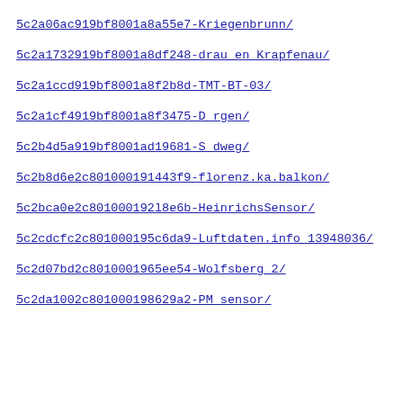5c2a06ac919bf8001a8a55e7-Kriegenbrunn/
5c2a1732919bf8001a8df248-drau_en_Krapfenau/
5c2a1ccd919bf8001a8f2b8d-TMT-BT-03/
5c2a1cf4919bf8001a8f3475-D_rgen/
5c2b4d5a919bf8001ad19681-S_dweg/
5c2b8d6e2c801000191443f9-florenz.ka.balkon/
5c2bca0e2c801000192l8e6b-HeinrichsSensor/
5c2cdcfc2c801000195c6da9-Luftdaten.info_13948036/
5c2d07bd2c8010001965ee54-Wolfsberg_2/
5c2da1002c801000198629a2-PM_sensor/